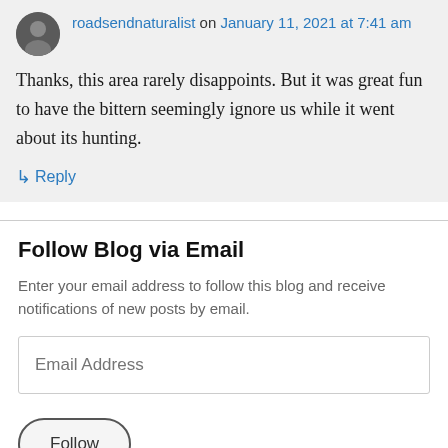roadsendnaturalist on January 11, 2021 at 7:41 am
Thanks, this area rarely disappoints. But it was great fun to have the bittern seemingly ignore us while it went about its hunting.
↳ Reply
Follow Blog via Email
Enter your email address to follow this blog and receive notifications of new posts by email.
Email Address
Follow